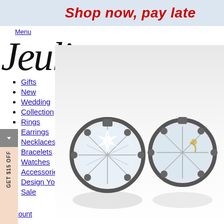Shop now, pay late
Menu
[Figure (logo): Jeulia logo in italic serif font with heart/infinity symbol]
Gifts
New
Wedding
Collection
Rings
Earrings
Necklaces
Bracelets
Watches
Accessories
Design Your Own
Sale
My Cart
count
[Figure (photo): Two diamond crystal stud earrings with ornate silver prong settings on white background]
GET $15 OFF